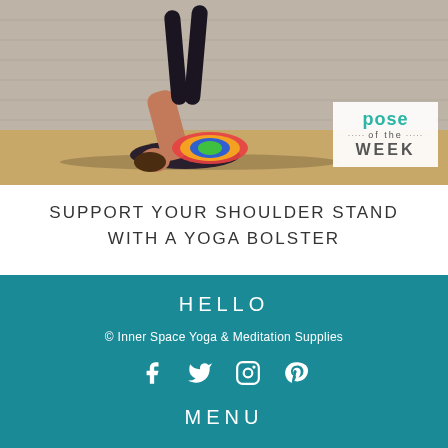[Figure (photo): Person performing a shoulder stand yoga pose supported by a colorful yoga bolster, lying on the floor with legs extended upward, in a wooden-walled studio. 'Pose of the Week' badge overlay in lower right corner.]
SUPPORT YOUR SHOULDER STAND WITH A YOGA BOLSTER
HELLO
© Inner Space Yoga & Meditation Supplies
[Figure (other): Social media icons: Facebook, Twitter, Instagram, Pinterest]
MENU